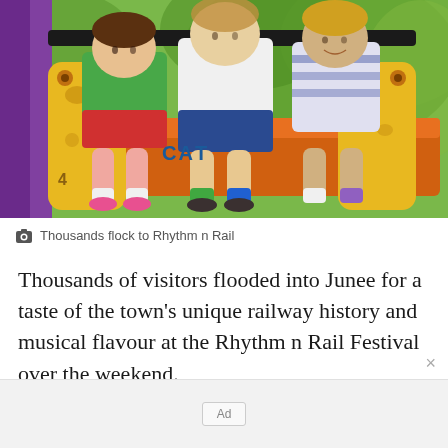[Figure (photo): Children riding a colorful carnival/fairground ride, likely a small train or carousel seat. Three children are seated together on an orange bench seat flanked by yellow giraffe-decorated side panels. Green trees are visible in the background. A purple element is visible on the left edge.]
Thousands flock to Rhythm n Rail
Thousands of visitors flooded into Junee for a taste of the town’s unique railway history and musical flavour at the Rhythm n Rail Festival over the weekend.
[Figure (other): Ad placeholder box]